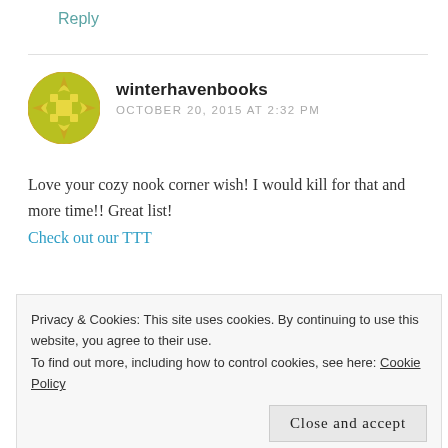Reply
winterhavenbooks
OCTOBER 20, 2015 AT 2:32 PM
[Figure (illustration): Round yellow-green avatar with geometric snowflake/quilt pattern]
Love your cozy nook corner wish! I would kill for that and more time!! Great list!
Check out our TTT
Liked by 1 person
Privacy & Cookies: This site uses cookies. By continuing to use this website, you agree to their use.
To find out more, including how to control cookies, see here: Cookie Policy
Close and accept